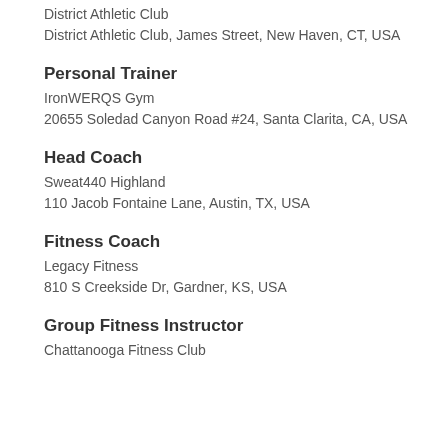District Athletic Club
District Athletic Club, James Street, New Haven, CT, USA
Personal Trainer
IronWERQS Gym
20655 Soledad Canyon Road #24, Santa Clarita, CA, USA
Head Coach
Sweat440 Highland
110 Jacob Fontaine Lane, Austin, TX, USA
Fitness Coach
Legacy Fitness
810 S Creekside Dr, Gardner, KS, USA
Group Fitness Instructor
Chattanooga Fitness Club